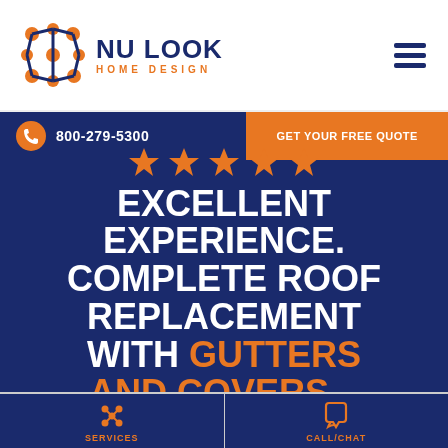[Figure (logo): Nu Look Home Design logo with orange dot-pattern graphic mark and dark blue text]
800-279-5300
GET YOUR FREE QUOTE
EXCELLENT EXPERIENCE. COMPLETE ROOF REPLACEMENT WITH GUTTERS AND COVERS...
SERVICES
CALL/CHAT